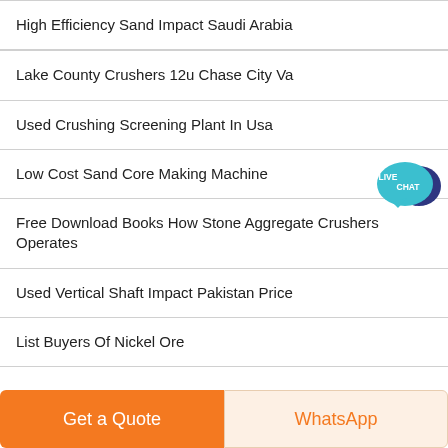High Efficiency Sand Impact Saudi Arabia
Lake County Crushers 12u Chase City Va
Used Crushing Screening Plant In Usa
Low Cost Sand Core Making Machine
Free Download Books How Stone Aggregate Crushers Operates
Used Vertical Shaft Impact Pakistan Price
List Buyers Of Nickel Ore
[Figure (illustration): Live Chat speech bubble badge in teal/dark blue colors with text LIVE CHAT]
Get a Quote   WhatsApp